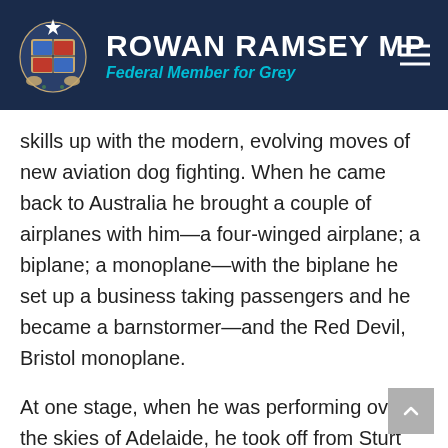ROWAN RAMSEY MP — Federal Member for Grey
skills up with the modern, evolving moves of new aviation dog fighting. When he came back to Australia he brought a couple of airplanes with him—a four-winged airplane; a biplane; a monoplane—with the biplane he set up a business taking passengers and he became a barnstormer—and the Red Devil, Bristol monoplane.
At one stage, when he was performing over the skies of Adelaide, he took off from Sturt Oval. The member for Sturt would know how big the Sturt oval was. It's not very big, to this day. In the southern goal, he had the chocks in and four men holding the wings. He was under full power when they said, 'Release him,' and away he raced towards the northern goals. He took off just in